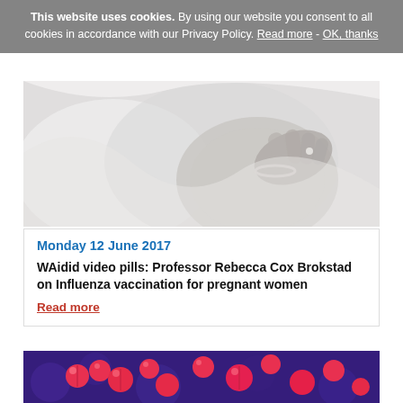This website uses cookies. By using our website you consent to all cookies in accordance with our Privacy Policy. Read more - OK, thanks
[Figure (photo): Black and white photo of a pregnant woman's belly with her hand resting on it, wearing a pearl bracelet and ring.]
Monday 12 June 2017
WAidid video pills: Professor Rebecca Cox Brokstad on Influenza vaccination for pregnant women
Read more
[Figure (photo): Microscopic image of red/pink spherical bacteria (Streptococcus) on a blue/purple background.]